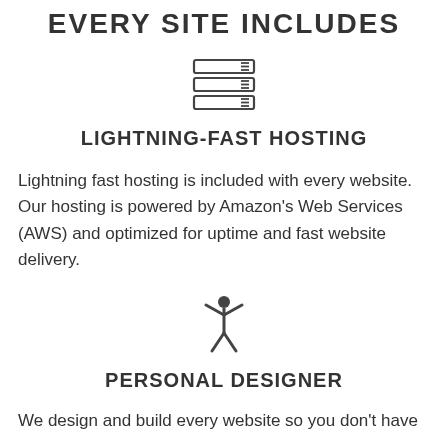EVERY SITE INCLUDES
[Figure (illustration): Server/database stack icon — three horizontal layered rectangles representing server racks]
LIGHTNING-FAST HOSTING
Lightning fast hosting is included with every website. Our hosting is powered by Amazon's Web Services (AWS) and optimized for uptime and fast website delivery.
[Figure (illustration): Person with arms raised icon — a stick figure with arms raised up representing a personal designer]
PERSONAL DESIGNER
We design and build every website so you don't have